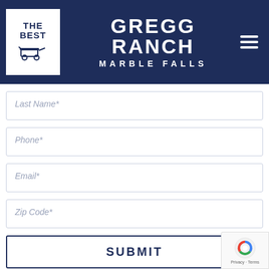[Figure (logo): Gregg Ranch Marble Falls website header with logo box showing 'THE BEST' text and a wheelbarrow icon on white background, site name 'GREGG RANCH' in large bold white letters and 'MARBLE FALLS' subtitle, on dark navy blue background with hamburger menu icon on right]
Last Name*
Phone*
Email*
Zip Code*
SUBMIT
[Figure (other): reCAPTCHA badge with Google logo and Privacy - Terms text]